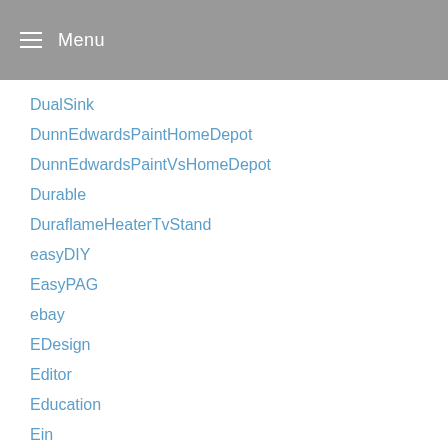Menu
DualSink
DunnEdwardsPaintHomeDepot
DunnEdwardsPaintVsHomeDepot
Durable
DuraflameHeaterTvStand
easyDIY
EasyPAG
ebay
EDesign
Editor
Education
Ein
ElderCare
Enclume
endalzheimers
EngineeredBacksplashAndCountertops